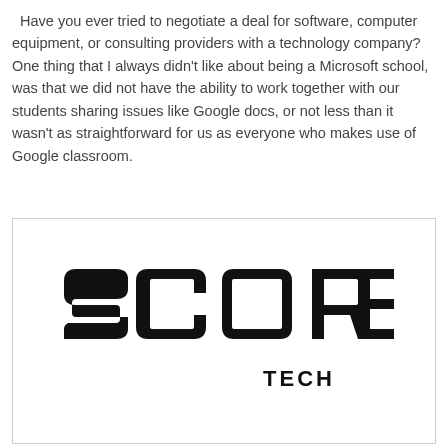Have you ever tried to negotiate a deal for software, computer equipment, or consulting providers with a technology company? One thing that I always didn't like about being a Microsoft school, was that we did not have the ability to work together with our students sharing issues like Google docs, or not less than it wasn't as straightforward for us as everyone who makes use of Google classroom.
[Figure (logo): SCORE TECH logo in bold black stylized font on white background inside a bordered rectangle]